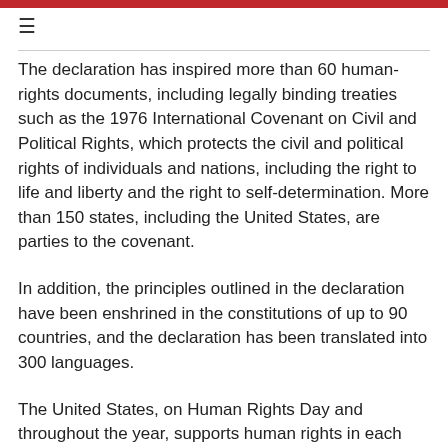≡
The declaration has inspired more than 60 human-rights documents, including legally binding treaties such as the 1976 International Covenant on Civil and Political Rights, which protects the civil and political rights of individuals and nations, including the right to life and liberty and the right to self-determination. More than 150 states, including the United States, are parties to the covenant.
In addition, the principles outlined in the declaration have been enshrined in the constitutions of up to 90 countries, and the declaration has been translated into 300 languages.
The United States, on Human Rights Day and throughout the year, supports human rights in each region of the world.